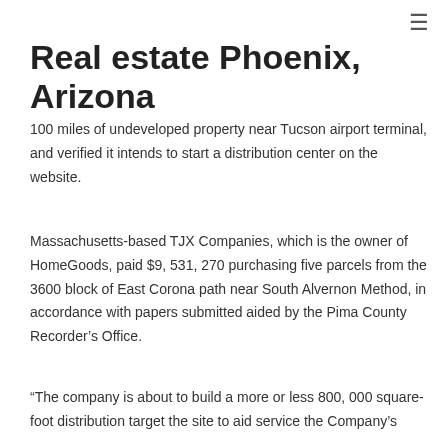≡
Real estate Phoenix, Arizona
100 miles of undeveloped property near Tucson airport terminal, and verified it intends to start a distribution center on the website.
Massachusetts-based TJX Companies, which is the owner of HomeGoods, paid $9, 531, 270 purchasing five parcels from the 3600 block of East Corona path near South Alvernon Method, in accordance with papers submitted aided by the Pima County Recorder's Office.
“The company is about to build a more or less 800, 000 square-foot distribution target the site to aid service the Company’s